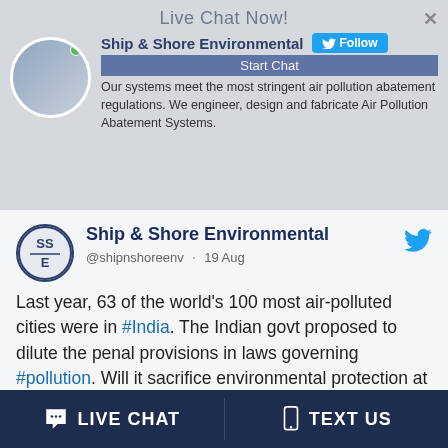[Figure (screenshot): Live chat banner with Ship & Shore Environmental logo, Follow button, and company description about air pollution abatement systems]
Live Chat Now!
Ship & Shore Environmental
Our systems meet the most stringent air pollution abatement regulations. We engineer, design and fabricate Air Pollution Abatement Systems.
Ship & Shore Environmental
@shipnshoreenv · 19 Aug
Last year, 63 of the world's 100 most air-polluted cities were in #India. The Indian govt proposed to dilute the penal provisions in laws governing #pollution. Will it sacrifice environmental protection at the altar of business interests? #Environment
LIVE CHAT
TEXT US